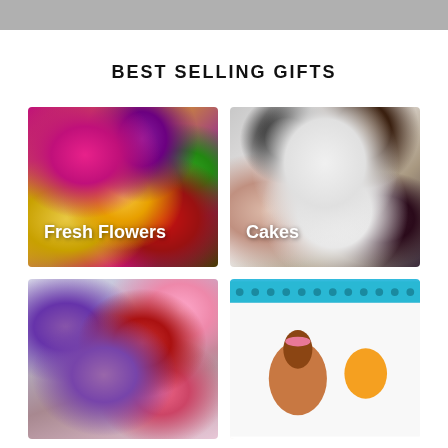BEST SELLING GIFTS
[Figure (photo): Close-up of colorful fresh flowers including pink roses, yellow sunflowers, purple flowers, and red roses with green foliage. Label reads 'Fresh Flowers'.]
[Figure (photo): Assorted cakes including a white cake with cherries and Oreos on top, a white decorated cake with pink flower, and a dark chocolate cake. Label reads 'Cakes'.]
[Figure (photo): Bouquet of flowers including purple, red, and pink flowers against a light background.]
[Figure (photo): Birthday card or cake decoration with teal/blue border, a girl with pink headband, balloons, and party elements.]